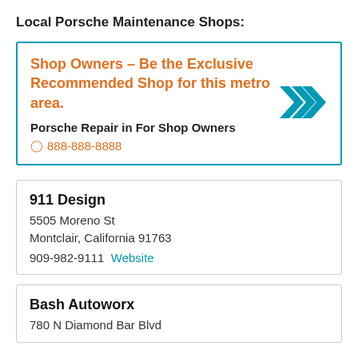Local Porsche Maintenance Shops:
Shop Owners – Be the Exclusive Recommended Shop for this metro area.
Porsche Repair in For Shop Owners
888-888-8888
911 Design
5505 Moreno St
Montclair, California 91763
909-982-9111  Website
Bash Autoworx
780 N Diamond Bar Blvd